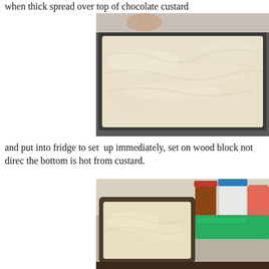when thick spread over top of chocolate custard
[Figure (photo): A baking pan filled with a white cream/custard mixture spread evenly on top, viewed from above at an angle, sitting on a dark surface.]
and put into fridge to set  up immediately, set on wood block not direc the bottom is hot from custard.
[Figure (photo): A baking pan with cream/custard topping inside a refrigerator, surrounded by condiment jars and containers on the fridge shelf.]